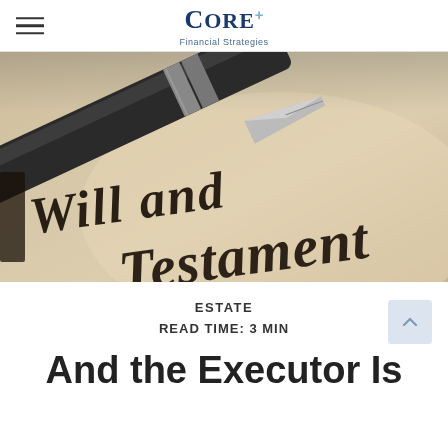Core+ Financial Strategies
[Figure (photo): Close-up photograph of a fountain pen resting on a formal document with old-English script reading 'Will and Testament' on a parchment-colored background]
ESTATE
READ TIME: 3 MIN
And the Executor Is